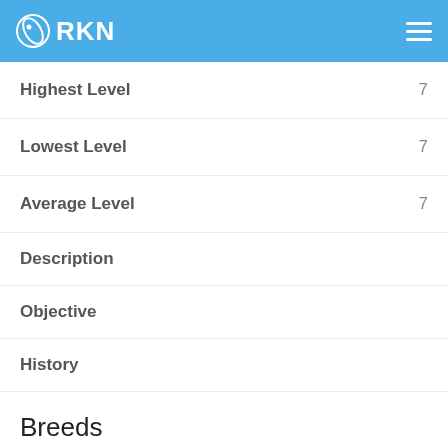RKN
Highest Level  7
Lowest Level  7
Average Level  7
Description
Objective
History
Breeds